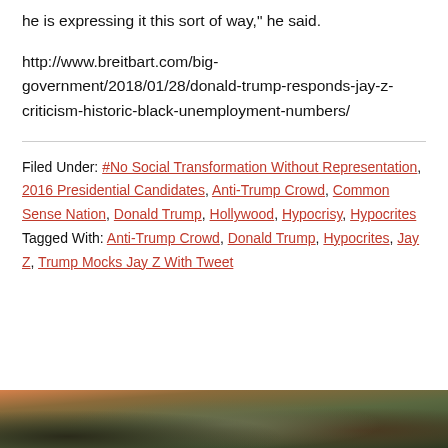he is expressing it this sort of way," he said.
http://www.breitbart.com/big-government/2018/01/28/donald-trump-responds-jay-z-criticism-historic-black-unemployment-numbers/
Filed Under: #No Social Transformation Without Representation, 2016 Presidential Candidates, Anti-Trump Crowd, Common Sense Nation, Donald Trump, Hollywood, Hypocrisy, Hypocrites Tagged With: Anti-Trump Crowd, Donald Trump, Hypocrites, Jay Z, Trump Mocks Jay Z With Tweet
[Figure (photo): Crowd photo at the bottom of the page]